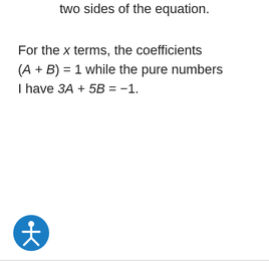two sides of the equation.
For the x terms, the coefficients (A + B) = 1 while the pure numbers I have 3A + 5B = −1.
[Figure (illustration): Blue circular accessibility icon with white person figure]